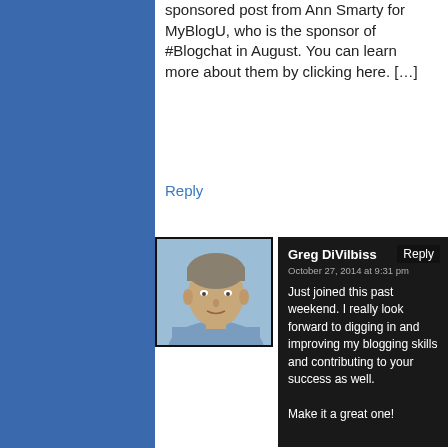sponsored post from Ann Smarty for MyBlogU, who is the sponsor of #Blogchat in August.  You can learn more about them by clicking here.  […]
Reply
Greg DiViIbiss
Reply
October 27, 2014 at 9:31 pm
Just joined this past weekend. I really look forward to digging in and improving my blogging skills and contributing to your success as well.

Make it a great one!
[Figure (photo): Headshot of Greg DiViIbiss, a man facing slightly left, wearing a blue shirt, with gray hair, against a light background.]